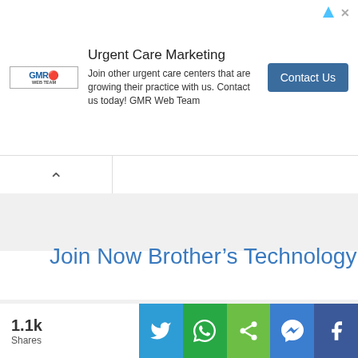[Figure (screenshot): Advertisement banner for Urgent Care Marketing by GMR Web Team with Contact Us button]
Join Now Brother's Technology
Our Social Pages
1.1k Shares